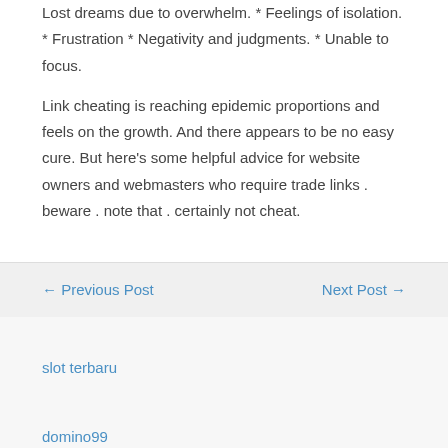Lost dreams due to overwhelm. * Feelings of isolation. * Frustration * Negativity and judgments. * Unable to focus.
Link cheating is reaching epidemic proportions and feels on the growth. And there appears to be no easy cure. But here's some helpful advice for website owners and webmasters who require trade links . beware . note that . certainly not cheat.
← Previous Post
Next Post →
slot terbaru
domino99
Search